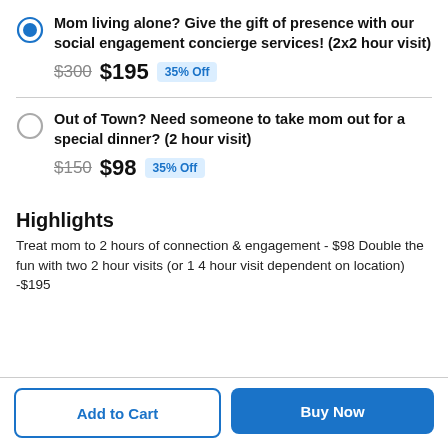Mom living alone? Give the gift of presence with our social engagement concierge services! (2x2 hour visit) — $300 strikethrough, $195, 35% Off
Out of Town? Need someone to take mom out for a special dinner? (2 hour visit) — $150 strikethrough, $98, 35% Off
Highlights
Treat mom to 2 hours of connection & engagement - $98 Double the fun with two 2 hour visits (or 1 4 hour visit dependent on location) -$195
Add to Cart | Buy Now